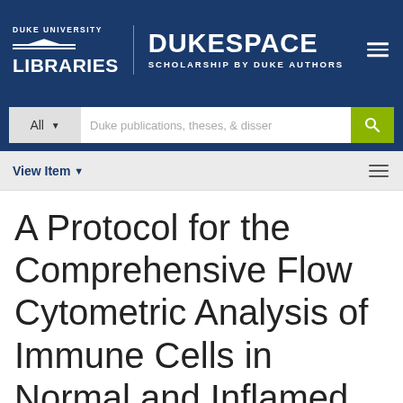DUKE UNIVERSITY LIBRARIES — DUKESPACE SCHOLARSHIP BY DUKE AUTHORS
All  Duke publications, theses, & dissertations
View Item
A Protocol for the Comprehensive Flow Cytometric Analysis of Immune Cells in Normal and Inflamed Murine Non-Lymphoid Tissues.